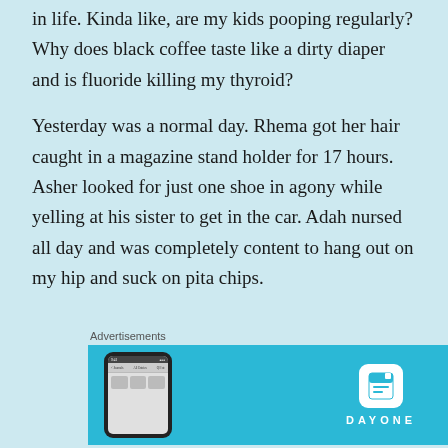in life. Kinda like, are my kids pooping regularly? Why does black coffee taste like a dirty diaper and is fluoride killing my thyroid?
Yesterday was a normal day. Rhema got her hair caught in a magazine stand holder for 17 hours. Asher looked for just one shoe in agony while yelling at his sister to get in the car. Adah nursed all day and was completely content to hang out on my hip and suck on pita chips.
Advertisements
[Figure (screenshot): Advertisement showing a phone mockup on the left and the DayOne app logo on the right against a bright blue background.]